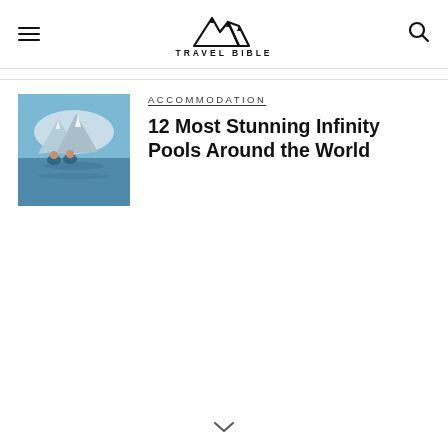TRAVEL BIBLE
ACCOMMODATION
12 Most Stunning Infinity Pools Around the World
[Figure (photo): People floating in an infinity pool with snowy mountains and blue water in the background]